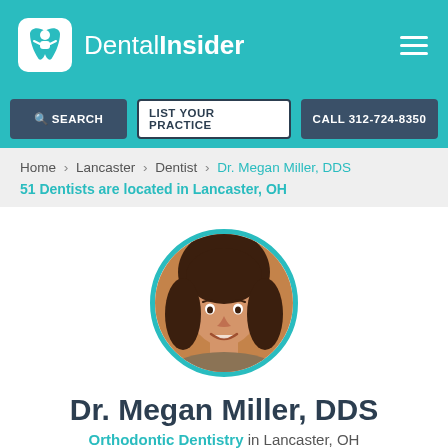DentalInsider
SEARCH | LIST YOUR PRACTICE | CALL 312-724-8350
Home > Lancaster > Dentist > Dr. Megan Miller, DDS
51 Dentists are located in Lancaster, OH
[Figure (photo): Circular profile photo of Dr. Megan Miller, DDS — a woman with brown hair, smiling, with a teal circular border]
Dr. Megan Miller, DDS
Orthodontic Dentistry in Lancaster, OH
Within 280 miles